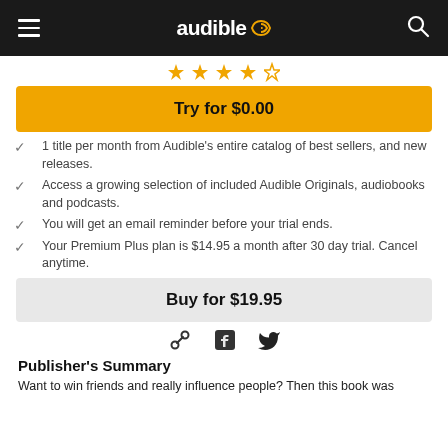audible
[Figure (illustration): Five golden bookmark/ribbon icons in a row representing ratings]
Try for $0.00
1 title per month from Audible's entire catalog of best sellers, and new releases.
Access a growing selection of included Audible Originals, audiobooks and podcasts.
You will get an email reminder before your trial ends.
Your Premium Plus plan is $14.95 a month after 30 day trial. Cancel anytime.
Buy for $19.95
[Figure (illustration): Social sharing icons: link/chain, Facebook, Twitter]
Publisher's Summary
Want to win friends and really influence people? Then this book was made for you. Listen in the next most comfortable book experience.